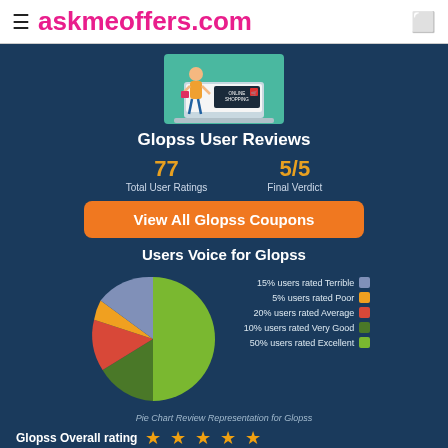≡ askmeoffers.com
[Figure (illustration): Online shopping illustration with a cartoon girl holding bags next to a laptop screen showing a shopping cart.]
Glopss User Reviews
77 Total User Ratings
5/5 Final Verdict
View All Glopss Coupons
Users Voice for Glopss
[Figure (pie-chart): Users Voice for Glopss]
Pie Chart Review Representation for Glopss
Glopss Overall rating ★ ★ ★ ★ ★